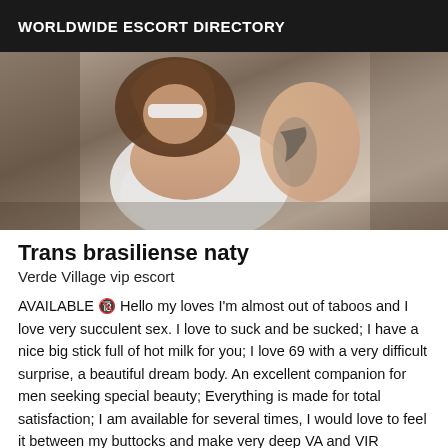WORLDWIDE ESCORT DIRECTORY
[Figure (photo): Photo of a person with brown hair and tattoos, wearing a white lace top, photographed indoors.]
Trans brasiliense naty
Verde Village vip escort
AVAILABLE 🔞 Hello my loves I'm almost out of taboos and I love very succulent sex. I love to suck and be sucked; I have a nice big stick full of hot milk for you; I love 69 with a very difficult surprise, a beautiful dream body. An excellent companion for men seeking special beauty; Everything is made for total satisfaction; I am available for several times, I would love to feel it between my buttocks and make very deep VA and VIR